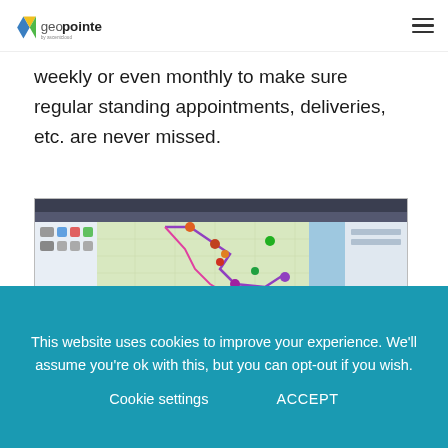geopointe by ascent cloud — navigation logo and hamburger menu
weekly or even monthly to make sure regular standing appointments, deliveries, etc. are never missed.
[Figure (screenshot): Screenshot of Geopointe application showing a map of Chicago with route lines overlaid (purple, pink, green, orange markers) and a calendar/schedule view below the map with colored appointment blocks]
This website uses cookies to improve your experience. We'll assume you're ok with this, but you can opt-out if you wish. Cookie settings ACCEPT